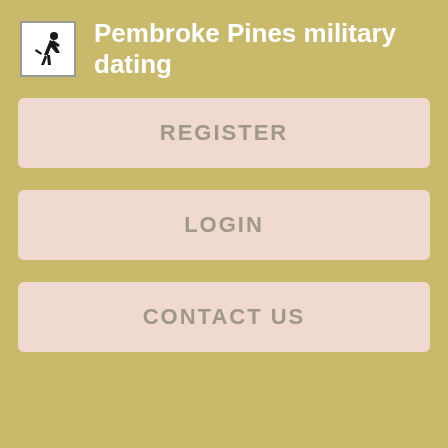[Figure (logo): Military dating site logo with a small icon of a person on a horse/running figure in black on white background]
Pembroke Pines military dating
REGISTER
LOGIN
CONTACT US
I know:
French
What is my body features:
I'm thin
What is my favourite drink:
Ale
Views: 5576